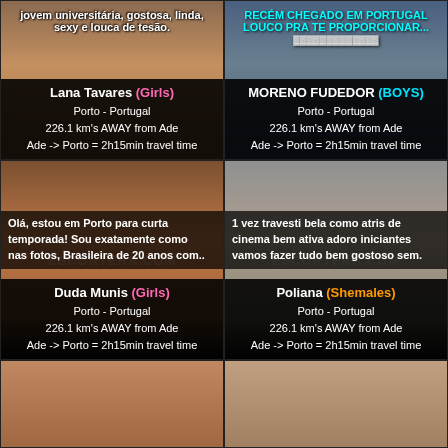[Figure (photo): Top-left: profile card for Lana Tavares with photo and text overlay. Text: jovem universitária, gostosa, linda, sexy e louca de tesão. Name: Lana Tavares (Girls), Porto - Portugal, 226.1 km's AWAY from Ade, Ade -> Porto = 2h15min travel time]
[Figure (photo): Top-right: profile card for MORENO FUDEDOR with photo and text overlay. Text: RECÉM CHEGADO EM PORTUGAL LOUCO PRA TE PROPORCIONAR... Name: MORENO FUDEDOR (Boys), Porto - Portugal, 226.1 km's AWAY from Ade, Ade -> Porto = 2h15min travel time]
[Figure (photo): Mid-left: profile card for Duda Munis with photo of woman in white bikini. Text: Olá, estou em Porto para curta temporada! Sou exatamente como nas fotos, Brasileira de 20 anos com... Name: Duda Munis (Girls), Porto - Portugal, 226.1 km's AWAY from Ade, Ade -> Porto = 2h15min travel time]
[Figure (photo): Mid-right: profile card for Poliana with photo of woman in bunny mask. Text: 1 vez travesti bela como atris de cinema bem ativa adoro iniciantes vamos fazer tudo bem gostoso sem. Name: Poliana (Shemales), Porto - Portugal, 226.1 km's AWAY from Ade, Ade -> Porto = 2h15min travel time]
[Figure (photo): Bottom-left: partial photo card]
[Figure (photo): Bottom-right: partial photo card]